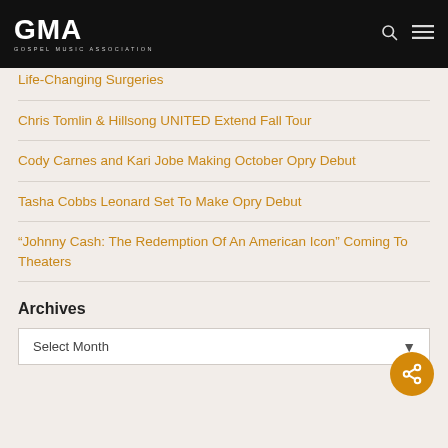GMA Gospel Music Association
Life-Changing Surgeries
Chris Tomlin & Hillsong UNITED Extend Fall Tour
Cody Carnes and Kari Jobe Making October Opry Debut
Tasha Cobbs Leonard Set To Make Opry Debut
“Johnny Cash: The Redemption Of An American Icon” Coming To Theaters
Archives
Select Month